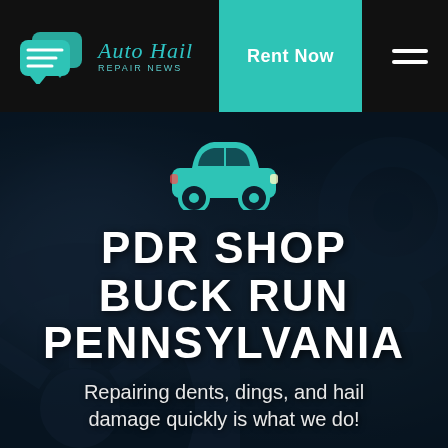[Figure (logo): Auto Hail Repair News logo with teal speech bubble icons and italic teal text]
Rent Now
[Figure (screenshot): Website hero section with dark car interior background, teal car icon, bold white text reading PDR SHOP BUCK RUN PENNSYLVANIA, and subtitle text]
PDR SHOP BUCK RUN PENNSYLVANIA
Repairing dents, dings, and hail damage quickly is what we do!